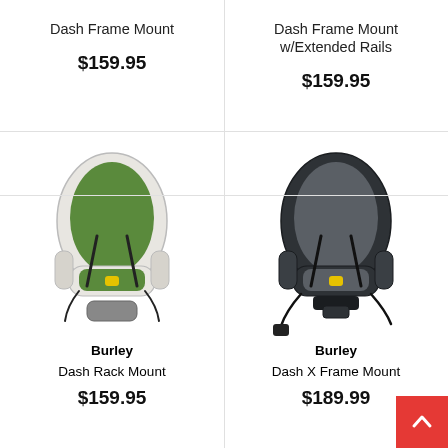Dash Frame Mount
$159.95
Dash Frame Mount w/Extended Rails
$159.95
[Figure (photo): Burley Dash Rack Mount child bike seat, white shell with green padding and straps]
Burley Dash Rack Mount
$159.95
[Figure (photo): Burley Dash X Frame Mount child bike seat, dark grey/black shell with grey padding and yellow buckle]
Burley Dash X Frame Mount
$189.99